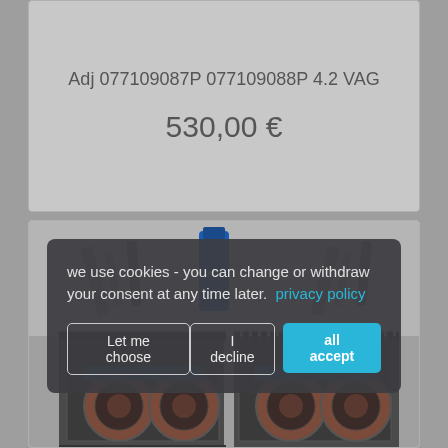Adj 077109087P 077109088P 4.2 VAG
530,00 €
we use cookies - you can change or withdraw your consent at any time later.  privacy policy
Let me choose
I decline
all accept
[Figure (photo): Engine timing chain kit with seals, gaskets, and sealant tube for VAG 4.2 engine]